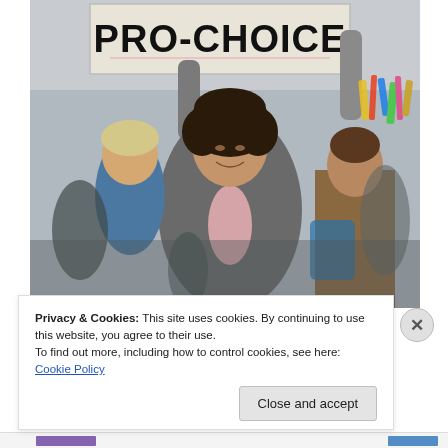[Figure (photo): A woman at a protest rally holding a hand-lettered sign reading 'PRO-CHOICE' above her head with both arms raised. She has dark curly hair and wears a grey tweed coat over a pink shirt. Behind her is an older woman in blue and a crowd of protesters. Colorful streamers are visible at the top right.]
Privacy & Cookies: This site uses cookies. By continuing to use this website, you agree to their use.
To find out more, including how to control cookies, see here: Cookie Policy